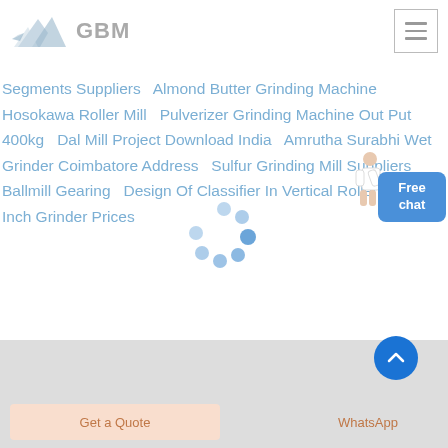[Figure (logo): GBM logo with mountain/arrow graphic and grey GBM text]
Segments Suppliers   Almond Butter Grinding Machine   Hosokawa Roller Mill   Pulverizer Grinding Machine Out Put 400kg   Dal Mill Project Download India   Amrutha Surabhi Wet Grinder Coimbatore Address   Sulfur Grinding Mill Suppliers   Ballmill Gearing   Design Of Classifier In Vertical Roller Mills   5 Inch Grinder Prices
[Figure (infographic): Loading spinner with blue dots arranged in circular pattern]
[Figure (illustration): Customer service person figure with Free chat button overlay in blue]
[Figure (other): Scroll up circular blue button with upward chevron]
Get a Quote
WhatsApp